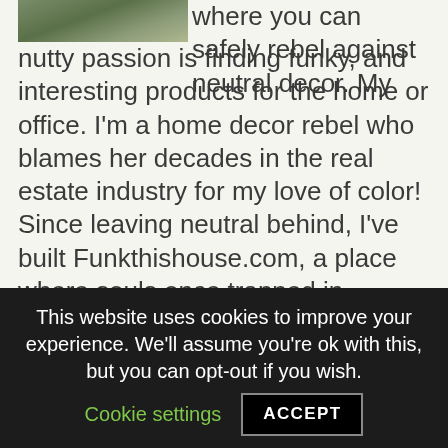[Figure (photo): Partial image of a landscape or outdoor scene, partially visible at top-left corner]
where you can safely rebel against neutral decor. My nutty passion is finding funky, and interesting products for the home or office. I'm a home decor rebel who blames her decades in the real estate industry for my love of color! Since leaving neutral behind, I've built Funkthishouse.com, a place where souls once trapped in neutral-decor-world roam free and funk'n love it. Visit FAQs for more about Funkthishouse and the whole funky story.
The products featured are suggested from
This website uses cookies to improve your experience. We'll assume you're ok with this, but you can opt-out if you wish.
Cookie settings
ACCEPT